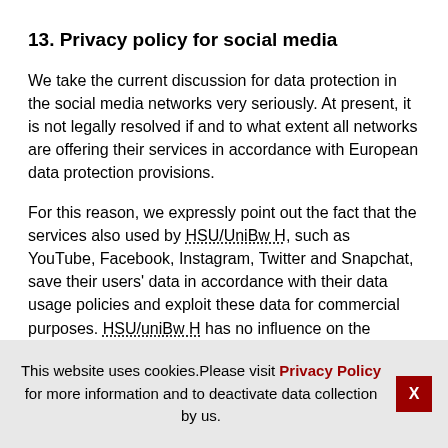13. Privacy policy for social media
We take the current discussion for data protection in the social media networks very seriously. At present, it is not legally resolved if and to what extent all networks are offering their services in accordance with European data protection provisions.
For this reason, we expressly point out the fact that the services also used by HSU/UniBw H, such as YouTube, Facebook, Instagram, Twitter and Snapchat, save their users' data in accordance with their data usage policies and exploit these data for commercial purposes. HSU/uniBw H has no influence on the collection of data and their further use by social networks. We do not have any
This website uses cookies.Please visit Privacy Policy for more information and to deactivate data collection by us.